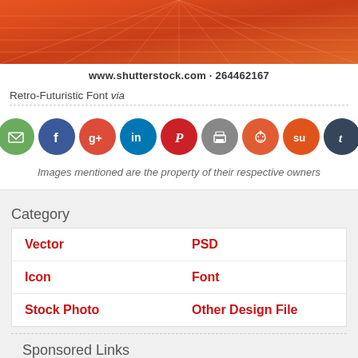[Figure (illustration): Orange retro-futuristic grid background image (partial view at top of page)]
www.shutterstock.com · 264462167
Retro-Futuristic Font via
[Figure (infographic): Row of 11 social media sharing icon buttons: Digg (blue), Email (green), Facebook (blue), Google+ (red), LinkedIn (blue), Pinterest (red), Print (gray), Reddit (orange-red), StumbleUpon (orange), Tumblr (dark blue-gray), Twitter (light blue)]
Images mentioned are the property of their respective owners
Category
| Vector | PSD |
| Icon | Font |
| Stock Photo | Other Design File |
Sponsored Links